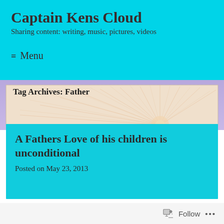Captain Kens Cloud
Sharing content: writing, music, pictures, videos
≡  Menu
[Figure (illustration): Decorative sunburst / radial line pattern on a beige/peach background inside a bordered box, with purple-lavender outer border area. Contains 'Tag Archives: Father' heading overlay.]
Tag Archives: Father
A Fathers Love of his children is unconditional
Posted on May 23, 2013
Follow ...